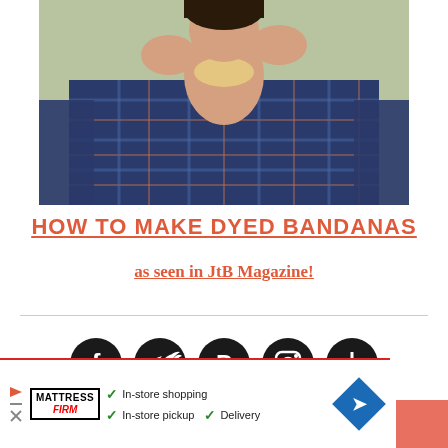[Figure (photo): Person wearing a blue plaid flannel shirt tying a bandana around their neck, photographed from chin down, outdoor setting]
HOW TO MAKE DYED BANDANAS
as seen in JtB Magazine!
[Figure (infographic): Five social media share icons in dark circles: Facebook, Twitter, Pinterest, Instagram, and a plus/add button]
[Figure (infographic): Advertisement banner for Mattress Firm showing checkmarks next to: In-store shopping, In-store pickup, Delivery, with a blue diamond arrow icon]